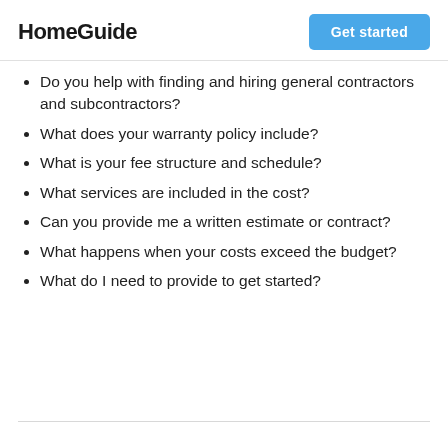HomeGuide
Do you help with finding and hiring general contractors and subcontractors?
What does your warranty policy include?
What is your fee structure and schedule?
What services are included in the cost?
Can you provide me a written estimate or contract?
What happens when your costs exceed the budget?
What do I need to provide to get started?